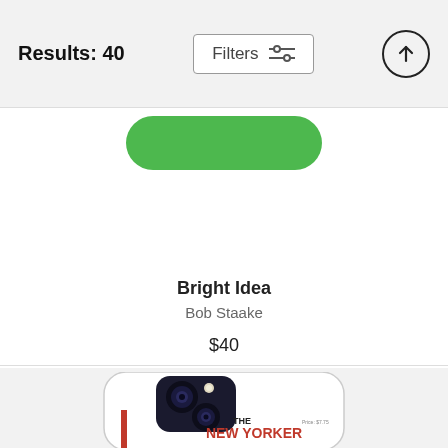Results: 40
Filters
[Figure (screenshot): Top portion of a green rounded phone case product image (cropped)]
Bright Idea
Bob Staake
$40
[Figure (photo): Phone case featuring The New Yorker magazine cover with a Native American figure and THE NEW YORKER logo in red text. The phone has a dark dual camera module visible at top.]